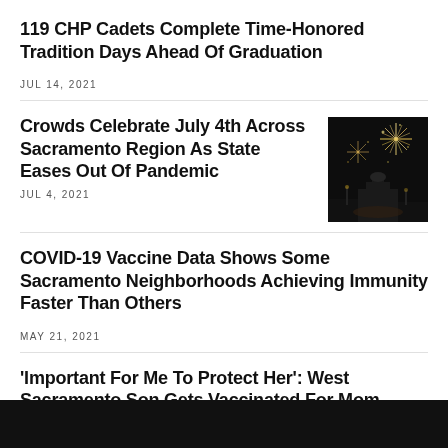119 CHP Cadets Complete Time-Honored Tradition Days Ahead Of Graduation
JUL 14, 2021
Crowds Celebrate July 4th Across Sacramento Region As State Eases Out Of Pandemic
JUL 4, 2021
[Figure (photo): Dark night sky photo of fireworks exploding over a building silhouette]
COVID-19 Vaccine Data Shows Some Sacramento Neighborhoods Achieving Immunity Faster Than Others
MAY 21, 2021
'Important For Me To Protect Her': West Sacramento Son Gets Vaccinated For Mom Battling Cancer